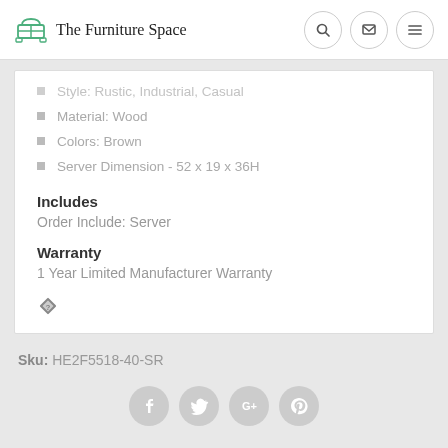The Furniture Space
Style: Rustic, Industrial, Casual
Material: Wood
Colors: Brown
Server Dimension - 52 x 19 x 36H
Includes
Order Include: Server
Warranty
1 Year Limited Manufacturer Warranty
Sku: HE2F5518-40-SR
[Figure (other): Social media icons: Facebook, Twitter, Google+, Pinterest]